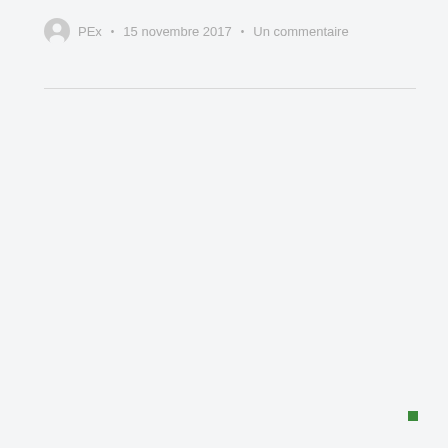PEx • 15 novembre 2017 • Un commentaire
[Figure (other): Small green square in bottom-right corner]